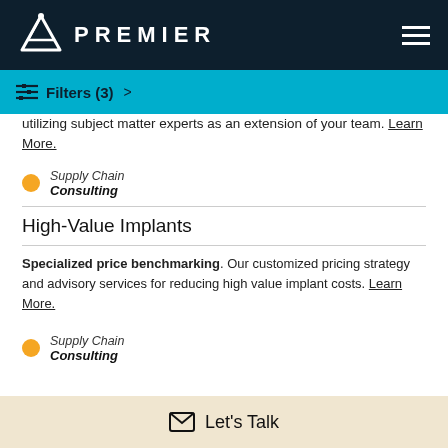PREMIER
Filters (3) >
utilizing subject matter experts as an extension of your team. Learn More.
Supply Chain Consulting
High-Value Implants
Specialized price benchmarking. Our customized pricing strategy and advisory services for reducing high value implant costs. Learn More.
Supply Chain Consulting
Let's Talk